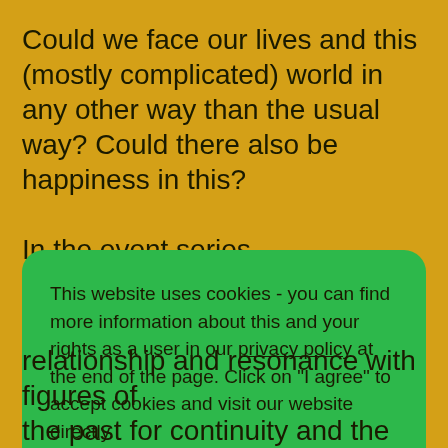Could we face our lives and this (mostly complicated) world in any other way than the usual way? Could there also be happiness in this?

In the event series WUNDERKAMMER music, science and philosophy combine
This website uses cookies - you can find more information about this and your rights as a user in our privacy policy at the end of the page. Click on "I agree" to accept cookies and visit our website directly.
relationship and resonance with figures of the past, for continuity, and the...